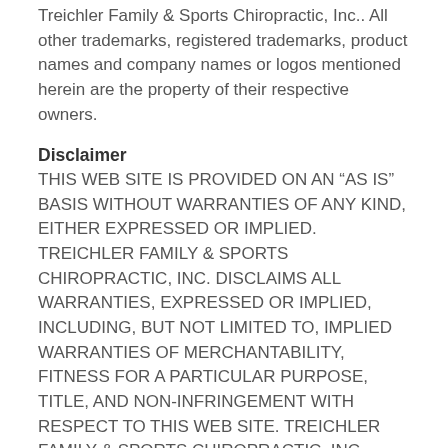Treichler Family & Sports Chiropractic, Inc.. All other trademarks, registered trademarks, product names and company names or logos mentioned herein are the property of their respective owners.
Disclaimer
THIS WEB SITE IS PROVIDED ON AN “AS IS” BASIS WITHOUT WARRANTIES OF ANY KIND, EITHER EXPRESSED OR IMPLIED. TREICHLER FAMILY & SPORTS CHIROPRACTIC, INC. DISCLAIMS ALL WARRANTIES, EXPRESSED OR IMPLIED, INCLUDING, BUT NOT LIMITED TO, IMPLIED WARRANTIES OF MERCHANTABILITY, FITNESS FOR A PARTICULAR PURPOSE, TITLE, AND NON-INFRINGEMENT WITH RESPECT TO THIS WEB SITE. TREICHLER FAMILY & SPORTS CHIROPRACTIC, INC. DOES NOT REPRESENT OR WARRANT THAT MATERIALS IN THIS WEB SITE ARE ACCURATE, COMPLETE, RELIABLE, CURRENT, OR ERROR-FREE. TREICHLER FAMILY & SPORTS